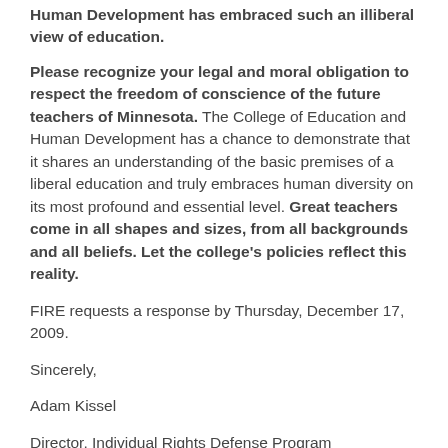Human Development has embraced such an illiberal view of education.
Please recognize your legal and moral obligation to respect the freedom of conscience of the future teachers of Minnesota. The College of Education and Human Development has a chance to demonstrate that it shares an understanding of the basic premises of a liberal education and truly embraces human diversity on its most profound and essential level. Great teachers come in all shapes and sizes, from all backgrounds and all beliefs. Let the college's policies reflect this reality.
FIRE requests a response by Thursday, December 17, 2009.
Sincerely,
Adam Kissel
Director, Individual Rights Defense Program